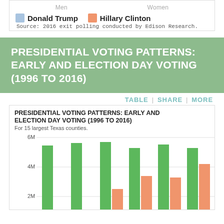Men    Women
[Figure (other): Legend showing Donald Trump (blue swatch) and Hillary Clinton (orange swatch) with source note: 2016 exit polling conducted by Edison Research.]
PRESIDENTIAL VOTING PATTERNS: EARLY AND ELECTION DAY VOTING (1996 TO 2016)
TABLE | SHARE | MORE
[Figure (bar-chart): PRESIDENTIAL VOTING PATTERNS: EARLY AND ELECTION DAY VOTING (1996 TO 2016)]